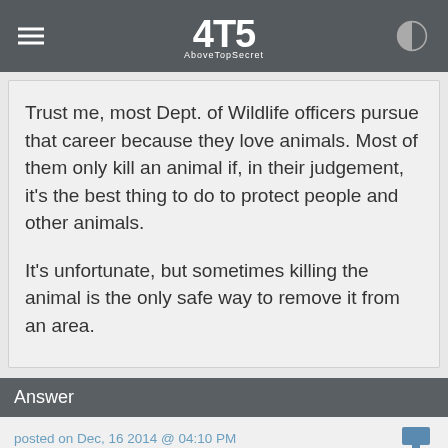4TS AboveTopSecret
Trust me, most Dept. of Wildlife officers pursue that career because they love animals. Most of them only kill an animal if, in their judgement, it's the best thing to do to protect people and other animals.

It's unfortunate, but sometimes killing the animal is the only safe way to remove it from an area.
Answer
posted on Dec, 16 2014 @ 04:10 PM
originally posted by: misguided
a reply to: Yeahkeepwatchingme

This seems to be the case across the U.S. East of the